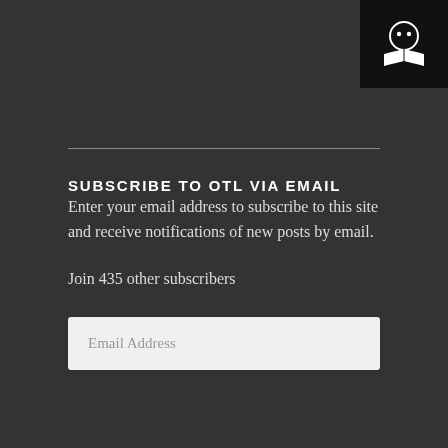[Figure (logo): Black square logo with a simple face icon (two dots as eyes) above an open book, white on black background, positioned top-right corner]
SUBSCRIBE TO OTL VIA EMAIL
Enter your email address to subscribe to this site and receive notifications of new posts by email.
Join 435 other subscribers
Email Address